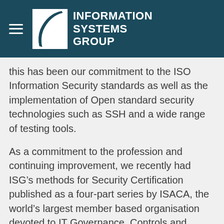INFORMATION SYSTEMS GROUP
this has been our commitment to the ISO Information Security standards as well as the implementation of Open standard security technologies such as SSH and a wide range of testing tools.
As a commitment to the profession and continuing improvement, we recently had ISG’s methods for Security Certification published as a four-part series by ISACA, the world’s largest member based organisation devoted to IT Governance, Controls and Security. The methods were published in Cobit Focus, an online journal going out monthly to over 120,000 professionals globally.